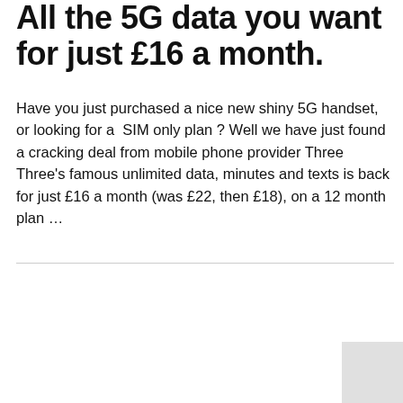All the 5G data you want for just £16 a month.
Have you just purchased a nice new shiny 5G handset, or looking for a  SIM only plan ? Well we have just found a cracking deal from mobile phone provider Three
Three's famous unlimited data, minutes and texts is back for just £16 a month (was £22, then £18), on a 12 month plan …